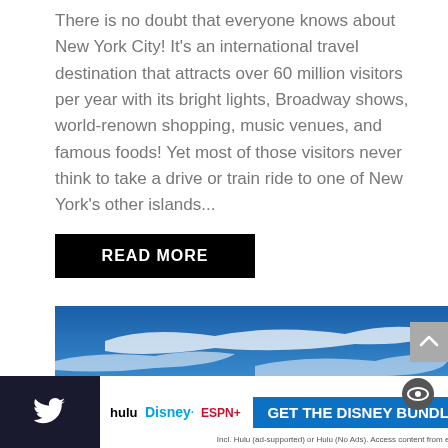There is no doubt that everyone knows about New York City! It's an international travel destination that attracts over 60 million visitors per year with its bright lights, Broadway shows, world-renown shopping, music venues, and famous foods! Yet most of those visitors never think to take a drive or train ride to one of New York's other islands...
READ MORE
[Figure (photo): Landscape photo showing a blue sky with wispy white clouds, and a distant dark island or land mass along the horizon.]
[Figure (other): Advertisement banner: Hulu, Disney+, ESPN+ logos with 'GET THE DISNEY BUNDLE' call-to-action button and fine print text.]